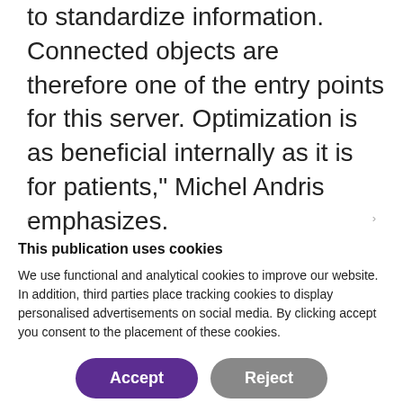to standardize information. Connected objects are therefore one of the entry points for this server. Optimization is as beneficial internally as it is for patients," Michel Andris emphasizes.
This publication uses cookies
We use functional and analytical cookies to improve our website. In addition, third parties place tracking cookies to display personalised advertisements on social media. By clicking accept you consent to the placement of these cookies.